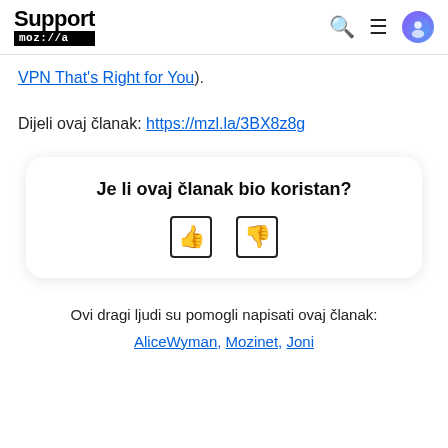Support mozilla//a
VPN That's Right for You).
Dijeli ovaj članak: https://mzl.la/3BX8z8g
Je li ovaj članak bio koristan?
Ovi dragi ljudi su pomogli napisati ovaj članak:
AliceWyman, Mozinet, Joni